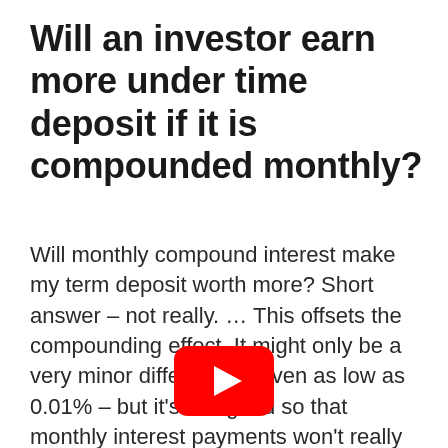Will an investor earn more under time deposit if it is compounded monthly?
Will monthly compound interest make my term deposit worth more? Short answer – not really. … This offsets the compounding effect. It might only be a very minor difference – even as low as 0.01% – but it's designed so that monthly interest payments won't really earn you more money.
[Figure (other): YouTube play button logo — red rounded rectangle with white triangle play icon]